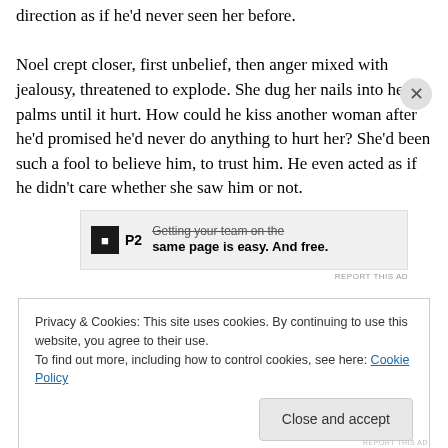direction as if he'd never seen her before.

Noel crept closer, first unbelief, then anger mixed with jealousy, threatened to explode. She dug her nails into her palms until it hurt. How could he kiss another woman after he'd promised he'd never do anything to hurt her? She'd been such a fool to believe him, to trust him. He even acted as if he didn't care whether she saw him or not.
[Figure (other): P2 advertisement banner: icon with 'P2' text, crossed-out text above bold text reading 'Getting your team on the same page is easy. And free.']
Privacy & Cookies: This site uses cookies. By continuing to use this website, you agree to their use.
To find out more, including how to control cookies, see here: Cookie Policy
Close and accept